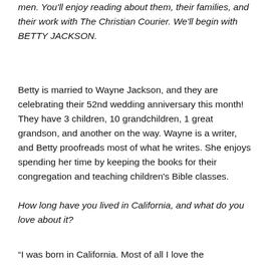men.  You'll enjoy reading about them, their families, and their work with The Christian Courier.  We'll begin with BETTY JACKSON.
Betty is married to Wayne Jackson, and they are celebrating their 52nd wedding anniversary this month!  They have 3 children, 10 grandchildren, 1 great grandson, and another on the way.  Wayne is a writer, and Betty proofreads most of what he writes.  She enjoys spending her time by keeping the books for their congregation and teaching children's Bible classes.
How long have you lived in California, and what do you love about it?
“I was born in California.  Most of all I love the